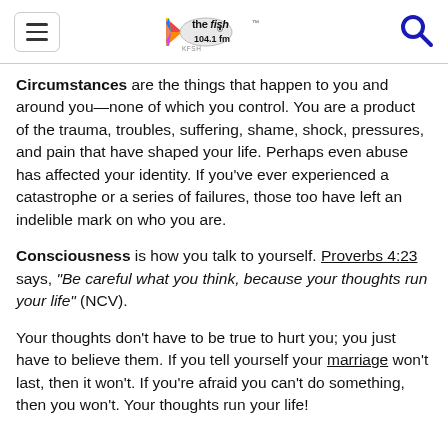the fish 104.1 fm
Circumstances are the things that happen to you and around you—none of which you control. You are a product of the trauma, troubles, suffering, shame, shock, pressures, and pain that have shaped your life. Perhaps even abuse has affected your identity. If you've ever experienced a catastrophe or a series of failures, those too have left an indelible mark on who you are.
Consciousness is how you talk to yourself. Proverbs 4:23 says, "Be careful what you think, because your thoughts run your life" (NCV).
Your thoughts don't have to be true to hurt you; you just have to believe them. If you tell yourself your marriage won't last, then it won't. If you're afraid you can't do something, then you won't. Your thoughts run your life!